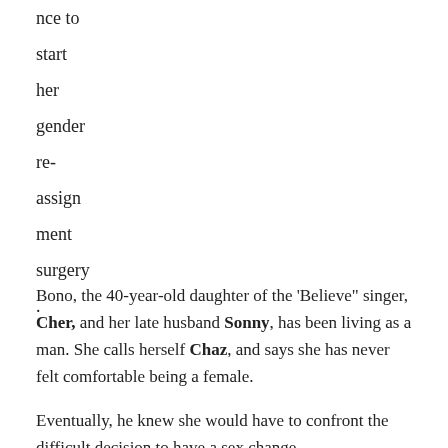nce to start her gender re-assign ment surgery .
Bono, the 40-year-old daughter of the 'Believe" singer, Cher, and her late husband Sonny, has been living as a man. She calls herself Chaz, and says she has never felt comfortable being a female.
Eventually, he knew she would have to confront the difficult decision to have a sex change.